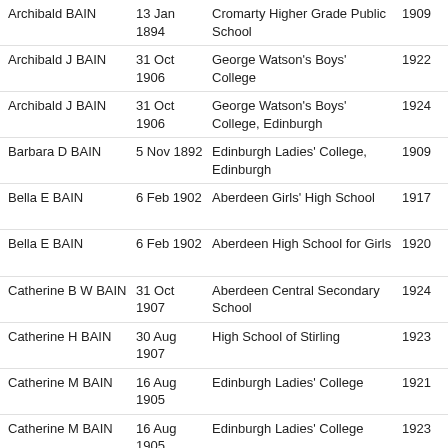| Name | Date | School | Year |  |
| --- | --- | --- | --- | --- |
| Archibald BAIN | 13 Jan 1894 | Cromarty Higher Grade Public School | 1909 | Order now |
| Archibald J BAIN | 31 Oct 1906 | George Watson's Boys' College | 1922 | Order now |
| Archibald J BAIN | 31 Oct 1906 | George Watson's Boys' College, Edinburgh | 1924 | Order now |
| Barbara D BAIN | 5 Nov 1892 | Edinburgh Ladies' College, Edinburgh | 1909 | Order now |
| Bella E BAIN | 6 Feb 1902 | Aberdeen Girls' High School | 1917 | Order now |
| Bella E BAIN | 6 Feb 1902 | Aberdeen High School for Girls | 1920 | Order now |
| Catherine B W BAIN | 31 Oct 1907 | Aberdeen Central Secondary School | 1924 | Order now |
| Catherine H BAIN | 30 Aug 1907 | High School of Stirling | 1923 | Order now |
| Catherine M BAIN | 16 Aug 1905 | Edinburgh Ladies' College | 1921 | Order now |
| Catherine M BAIN | 16 Aug 1905 | Edinburgh Ladies' College | 1923 | Order now |